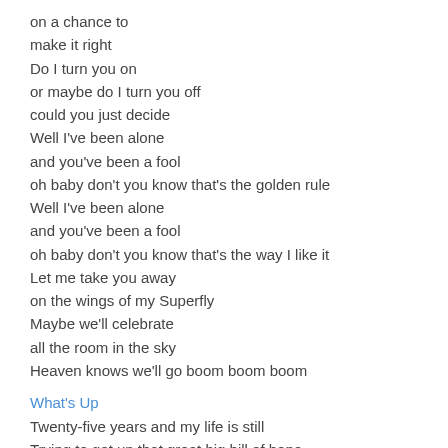on a chance to
make it right
Do I turn you on
or maybe do I turn you off
could you just decide
Well I've been alone
and you've been a fool
oh baby don't you know that's the golden rule
Well I've been alone
and you've been a fool
oh baby don't you know that's the way I like it
Let me take you away
on the wings of my Superfly
Maybe we'll celebrate
all the room in the sky
Heaven knows we'll go boom boom boom
What's Up
Twenty-five years and my life is still
Trying to get up that great big hill of hope
For a destination
And I realized quickly when I knew I should